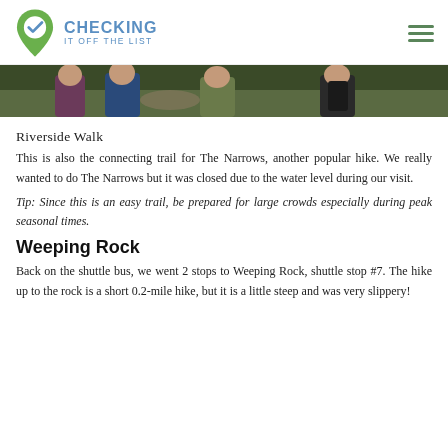CHECKING IT OFF THE LIST
[Figure (photo): Partial photo of people hiking on a trail, showing their torsos and backpacks.]
Riverside Walk
This is also the connecting trail for The Narrows, another popular hike. We really wanted to do The Narrows but it was closed due to the water level during our visit.
Tip: Since this is an easy trail, be prepared for large crowds especially during peak seasonal times.
Weeping Rock
Back on the shuttle bus, we went 2 stops to Weeping Rock, shuttle stop #7. The hike up to the rock is a short 0.2-mile hike, but it is a little steep and was very slippery!